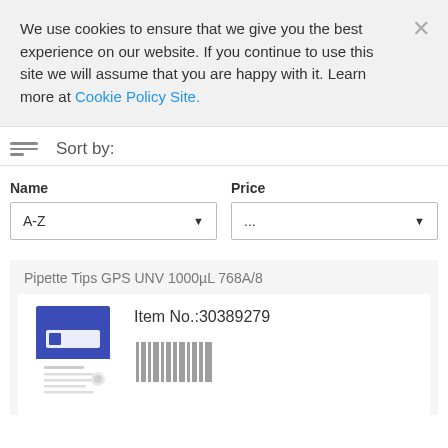We use cookies to ensure that we give you the best experience on our website. If you continue to use this site we will assume that you are happy with it. Learn more at Cookie Policy Site.
Sort by:
Name
A-Z
Price
...
Pipette Tips GPS UNV 1000µL 768A/8
Item No.:30389279
[Figure (photo): Product image of Pipette Tips GPS UNV 1000µL 768A/8, showing a blue and white box]
[Figure (other): Barcode bars (vertical bar lines)]